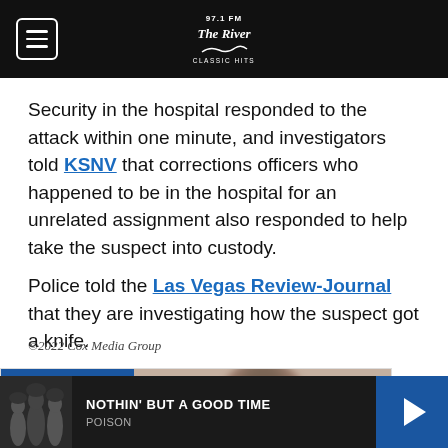97.1 FM The River Classic Hits
Security in the hospital responded to the attack within one minute, and investigators told KSNV that corrections officers who happened to be in the hospital for an unrelated assignment also responded to help take the suspect into custody.
Police told the Las Vegas Review-Journal that they are investigating how the suspect got a knife.
©2022 Cox Media Group
[Figure (other): ON AIR section with radio host photo]
NOTHIN' BUT A GOOD TIME — POISON (now playing bar)